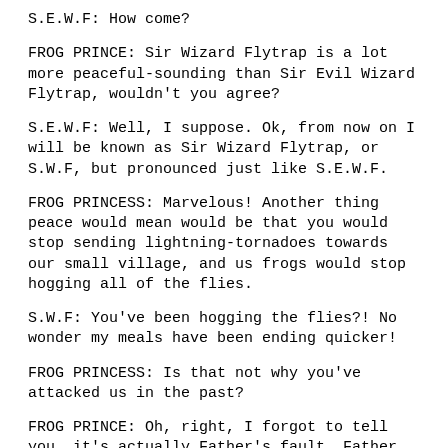S.E.W.F: How come?
FROG PRINCE: Sir Wizard Flytrap is a lot more peaceful-sounding than Sir Evil Wizard Flytrap, wouldn't you agree?
S.E.W.F: Well, I suppose. Ok, from now on I will be known as Sir Wizard Flytrap, or S.W.F, but pronounced just like S.E.W.F.
FROG PRINCESS: Marvelous! Another thing peace would mean would be that you would stop sending lightning-tornadoes towards our small village, and us frogs would stop hogging all of the flies.
S.W.F: You've been hogging the flies?! No wonder my meals have been ending quicker!
FROG PRINCESS: Is that not why you've attacked us in the past?
FROG PRINCE: Oh, right, I forgot to tell you, it's actually Father's fault. Father didn't look Sir Flytrap here in the eye